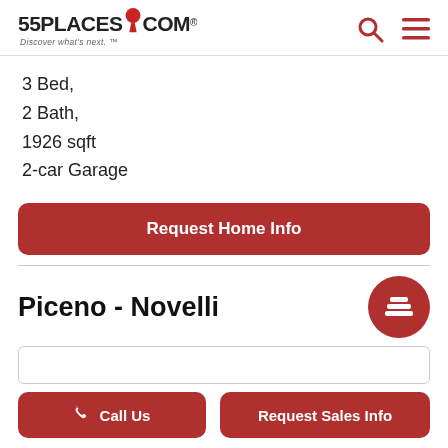55PLACES.COM — Discover what's next.
3 Bed,
2 Bath,
1926 sqft
2-car Garage
Request Home Info
Piceno - Novelli
Call Us
Request Sales Info